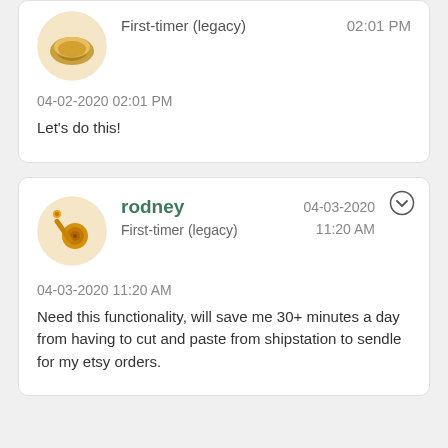First-timer (legacy)
02:01 PM
04-02-2020 02:01 PM
Let's do this!
rodney
First-timer (legacy)
04-03-2020 11:20 AM
04-03-2020 11:20 AM
Need this functionality, will save me 30+ minutes a day from having to cut and paste from shipstation to sendle for my etsy orders.